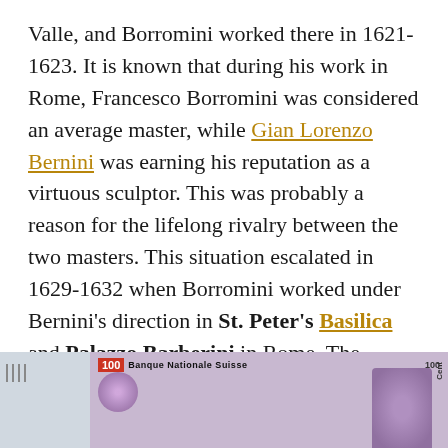Valle, and Borromini worked there in 1621-1623. It is known that during his work in Rome, Francesco Borromini was considered an average master, while Gian Lorenzo Bernini was earning his reputation as a virtuous sculptor. This was probably a reason for the lifelong rivalry between the two masters. This situation escalated in 1629-1632 when Borromini worked under Bernini's direction in St. Peter's Basilica and Palazzo Barberini in Rome. The rivalry caused the deep melancholy that ultimately led to the tragic death of Borromini.
[Figure (photo): Partial image of a Swiss 100 franc banknote showing 'Banque Nationale Suisse' text and a portrait]